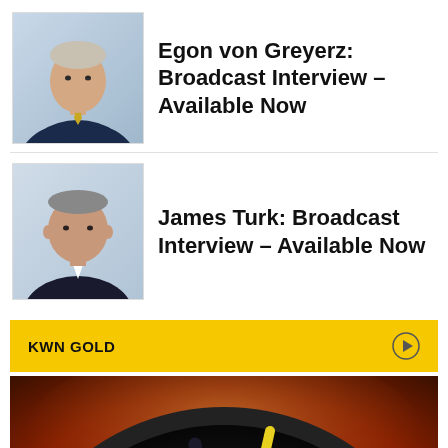Egon von Greyerz: Broadcast Interview – Available Now
[Figure (photo): Portrait photo of Egon von Greyerz, a man in a dark suit with arms crossed]
James Turk: Broadcast Interview – Available Now
[Figure (photo): Portrait photo of James Turk, a man in a dark suit]
KWN GOLD
[Figure (photo): Close-up photo of a dark clock face showing nearly midnight, with reddish dramatic background lighting]